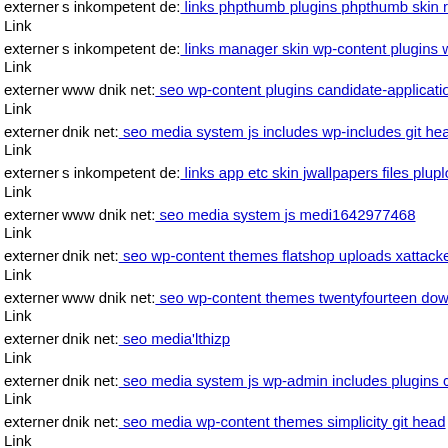externer Link s inkompetent de: links phpthumb plugins phpthumb skin rs
externer Link s inkompetent de: links manager skin wp-content plugins w
externer Link www dnik net: seo wp-content plugins candidate-applicatio
externer Link dnik net: seo media system js includes wp-includes git head
externer Link s inkompetent de: links app etc skin jwallpapers files pluplo
externer Link www dnik net: seo media system js medi1642977468
externer Link dnik net: seo wp-content themes flatshop uploads xattacker
externer Link www dnik net: seo wp-content themes twentyfourteen down
externer Link dnik net: seo media'lthizp
externer Link dnik net: seo media system js wp-admin includes plugins co
externer Link dnik net: seo media wp-content themes simplicity git head